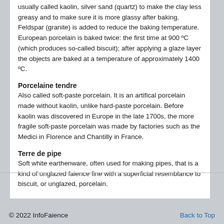usually called kaolin, silver sand (quartz) to make the clay less greasy and to make sure it is more glassy after baking. Feldspar (granite) is added to reduce the baking temperature. European porcelain is baked twice: the first time at 900 ºC (which produces so-called biscuit); after applying a glaze layer the objects are baked at a temperature of approximately 1400 ºC.
Porcelaine tendre
Also called soft-paste porcelain. It is an artifical porcelain made without kaolin, unlike hard-paste porcelain. Before kaolin was discovered in Europe in the late 1700s, the more fragile soft-paste porcelain was made by factories such as the Medici in Florence and Chantilly in France.
Terre de pipe
Soft white earthenware, often used for making pipes, that is a kind of unglazed faience fine with a superficial resemblance to biscuit, or unglazed, porcelain.
© 2022 InfoFaience    Back to Top